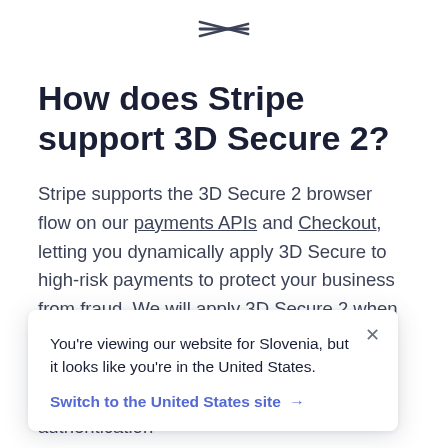Stripe logo (navigation icon)
How does Stripe support 3D Secure 2?
Stripe supports the 3D Secure 2 browser flow on our payments APIs and Checkout, letting you dynamically apply 3D Secure to high-risk payments to protect your business from fraud. We will apply 3D Secure 2 when it's supported by the cardholder's bank, and fall back
You're viewing our website for Slovenia, but it looks like you're in the United States.
Switch to the United States site →
Android SDKs let you build an in-app authentication